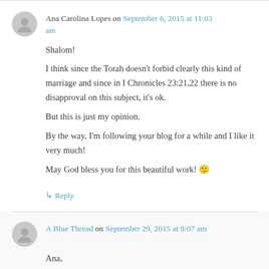Ana Carolina Lopes on September 6, 2015 at 11:03 am
Shalom!
I think since the Torah doesn't forbid clearly this kind of marriage and since in I Chronicles 23:21,22 there is no disapproval on this subject, it's ok.
But this is just my opinion.

By the way, I'm following your blog for a while and I like it very much!
May God bless you for this beautiful work! 🙂
↳ Reply
A Blue Thread on September 29, 2015 at 9:07 am
Ana,